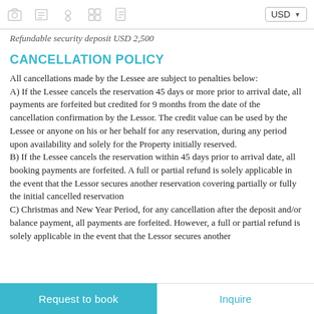USD
Refundable security deposit USD 2,500
CANCELLATION POLICY
All cancellations made by the Lessee are subject to penalties below:
A) If the Lessee cancels the reservation 45 days or more prior to arrival date, all payments are forfeited but credited for 9 months from the date of the cancellation confirmation by the Lessor. The credit value can be used by the Lessee or anyone on his or her behalf for any reservation, during any period upon availability and solely for the Property initially reserved.
B) If the Lessee cancels the reservation within 45 days prior to arrival date, all booking payments are forfeited. A full or partial refund is solely applicable in the event that the Lessor secures another reservation covering partially or fully the initial cancelled reservation
C) Christmas and New Year Period, for any cancellation after the deposit and/or balance payment, all payments are forfeited. However, a full or partial refund is solely applicable in the event that the Lessor secures another
Request to book | Inquire